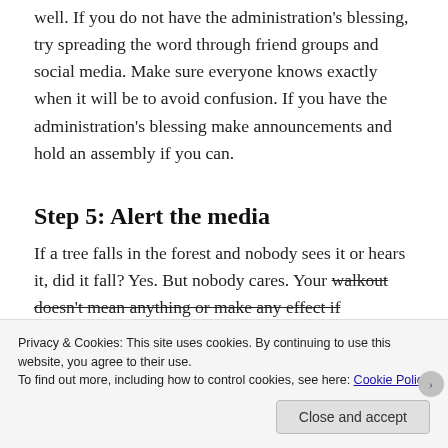well. If you do not have the administration's blessing, try spreading the word through friend groups and social media. Make sure everyone knows exactly when it will be to avoid confusion. If you have the administration's blessing make announcements and hold an assembly if you can.
Step 5: Alert the media
If a tree falls in the forest and nobody sees it or hears it, did it fall? Yes. But nobody cares. Your walkout doesn't mean anything or make any effect if
Privacy & Cookies: This site uses cookies. By continuing to use this website, you agree to their use.
To find out more, including how to control cookies, see here: Cookie Policy